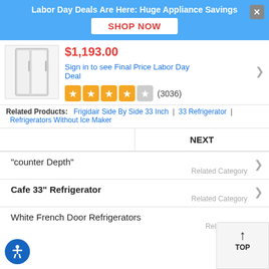[Figure (screenshot): Blue promotional banner with text 'Labor Day Deals Are Here: Huge Appliance Savings', a white 'SHOP NOW' button in red text, and a grey close (x) button]
$1,193.00
Sign in to see Final Price Labor Day Deal
[Figure (other): 4.5 out of 5 stars rating with (3036) reviews]
Related Products:   Frigidair Side By Side 33 Inch   |   33 Refrigerator   |   Refrigerators Without Ice Maker
|  | NEXT |
| --- | --- |
"counter Depth"
Related Category
Cafe 33" Refrigerator
Related Category
White French Door Refrigerators
Related Cate